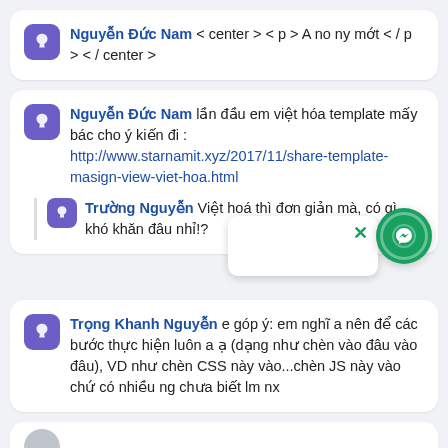Nguyễn Đức Nam < center > < p > A no ny mớt < / p > < / center >
Nguyễn Đức Nam lần đầu em việt hóa template mấy bác cho ý kiến đi : http://www.starnamit.xyz/2017/11/share-template-masign-view-viet-hoa.html
Trường Nguyễn Việt hoá thì đơn giản mà, có gì khó khăn đâu nhỉ!?
[Figure (screenshot): Messenger popup widget with close button and green messenger icon button]
Trọng Khanh Nguyễn e góp ý: em nghĩ a nên để các bước thực hiện luôn a ạ (dạng như chèn vào đâu vào đâu), VD như chèn CSS này vào...chèn JS này vào chứ có nhiều ng chưa biết lm nx